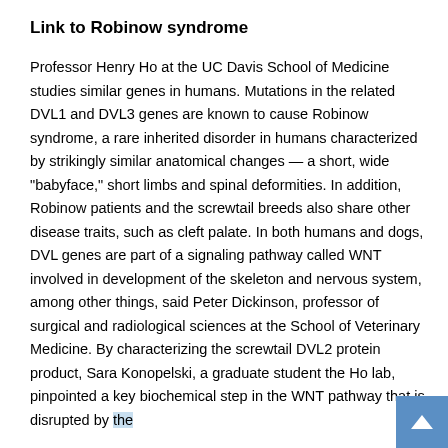Link to Robinow syndrome
Professor Henry Ho at the UC Davis School of Medicine studies similar genes in humans. Mutations in the related DVL1 and DVL3 genes are known to cause Robinow syndrome, a rare inherited disorder in humans characterized by strikingly similar anatomical changes — a short, wide "babyface," short limbs and spinal deformities. In addition, Robinow patients and the screwtail breeds also share other disease traits, such as cleft palate. In both humans and dogs, DVL genes are part of a signaling pathway called WNT involved in development of the skeleton and nervous system, among other things, said Peter Dickinson, professor of surgical and radiological sciences at the School of Veterinary Medicine. By characterizing the screwtail DVL2 protein product, Sara Konopelski, a graduate student the Ho lab, pinpointed a key biochemical step in the WNT pathway that is disrupted by the